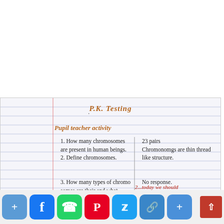P.K. Testing
Pupil teacher activity
1. How many chromosomes are present in human beings
2. Define chromosomes.
23 pairs
Chromonomgs are thin thread like structure.
3. How many types of chromosomes are their and what are there.
No response.
2...today we should